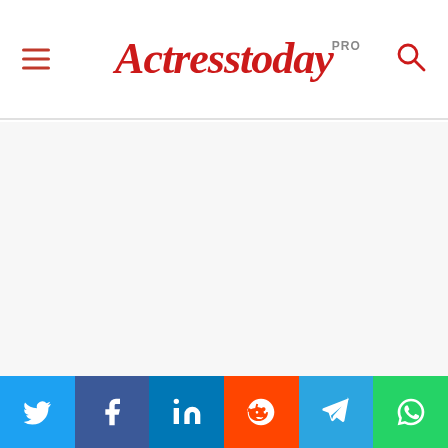Actresstoday PRO
[Figure (other): Large blank/white advertisement or image placeholder area]
With the availability of a QR code generator online
[Figure (infographic): Social media share bar with buttons: Twitter, Facebook, LinkedIn, Reddit, Telegram, WhatsApp]